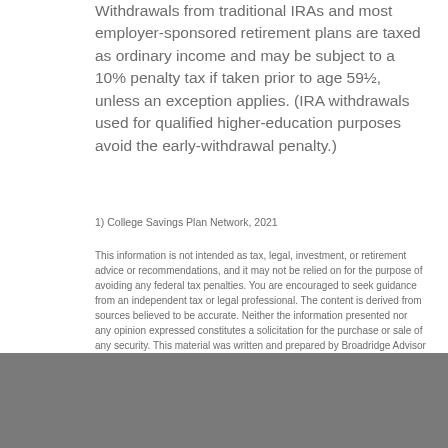Withdrawals from traditional IRAs and most employer-sponsored retirement plans are taxed as ordinary income and may be subject to a 10% penalty tax if taken prior to age 59½, unless an exception applies. (IRA withdrawals used for qualified higher-education purposes avoid the early-withdrawal penalty.)
1) College Savings Plan Network, 2021
This information is not intended as tax, legal, investment, or retirement advice or recommendations, and it may not be relied on for the purpose of avoiding any federal tax penalties. You are encouraged to seek guidance from an independent tax or legal professional. The content is derived from sources believed to be accurate. Neither the information presented nor any opinion expressed constitutes a solicitation for the purchase or sale of any security. This material was written and prepared by Broadridge Advisor Solutions. © 2022 Broadridge Financial Solutions, Inc.